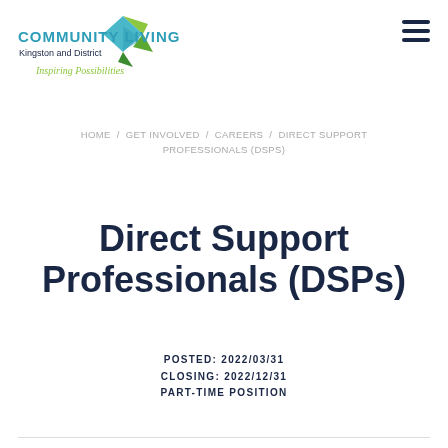[Figure (logo): Community Living Kingston and District logo with diamond/leaf icon and tagline 'Inspiring Possibilities']
HOME / GET INVOLVED / CAREERS / DIRECT SUPPORT PROFESSIONALS (DSPS)
Direct Support Professionals (DSPs)
POSTED: 2022/03/31
CLOSING: 2022/12/31
PART-TIME POSITION